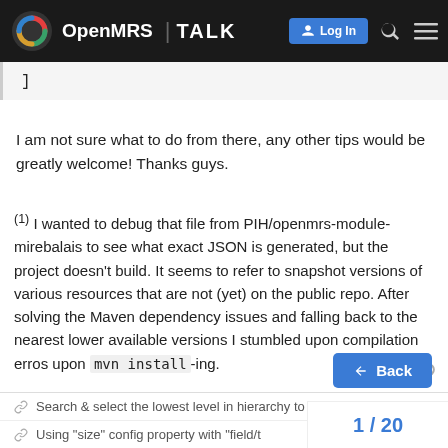OpenMRS TALK — Log In
]
I am not sure what to do from there, any other tips would be greatly welcome! Thanks guys.
(1) I wanted to debug that file from PIH/openmrs-module-mirebalais to see what exact JSON is generated, but the project doesn't build. It seems to refer to snapshot versions of various resources that are not (yet) on the public repo. After solving the Maven dependency issues and falling back to the nearest lower available versions I stumbled upon compilation erros upon mvn install-ing.
Search & select the lowest level in hierarchy to populate
Using "size" config property with "field/t
1 / 20